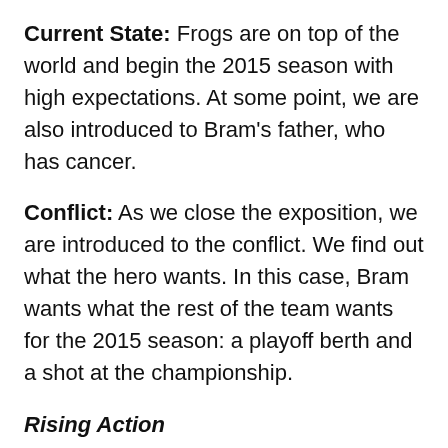Current State: Frogs are on top of the world and begin the 2015 season with high expectations. At some point, we are also introduced to Bram's father, who has cancer.
Conflict: As we close the exposition, we are introduced to the conflict. We find out what the hero wants. In this case, Bram wants what the rest of the team wants for the 2015 season: a playoff berth and a shot at the championship.
Rising Action
Following the exposition is the rising action. The rising action shows what the hero does in order to achieve his goal.
Scenes: At this point of the film, we get scenes of practice scenes in the weight room, etc. We also get a